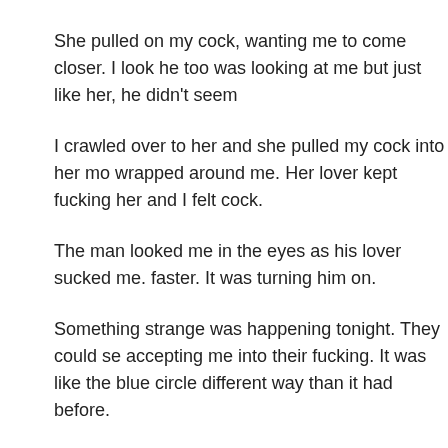She pulled on my cock, wanting me to come closer. I look he too was looking at me but just like her, he didn't seem
I crawled over to her and she pulled my cock into her mo wrapped around me. Her lover kept fucking her and I felt cock.
The man looked me in the eyes as his lover sucked me. faster. It was turning him on.
Something strange was happening tonight. They could se accepting me into their fucking. It was like the blue circle different way than it had before.
Well, that's magic.